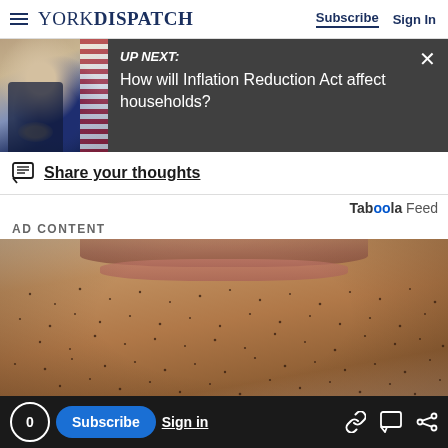YORK DISPATCH — Subscribe | Sign In
[Figure (photo): Video thumbnail showing UP NEXT: How will Inflation Reduction Act affect households? with a photo of President Biden speaking at a podium with an American flag in the background, with a close button (X)]
Share your thoughts
Taboola Feed
AD CONTENT
[Figure (photo): Extreme close-up photo of a man's lower face showing stubble/beard growth and teeth at the bottom, used as advertisement content]
0  Subscribe  Sign in  [link icon] [comment icon] [share icon]